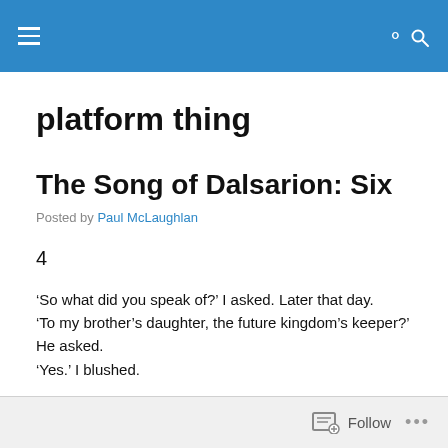platform thing
The Song of Dalsarion: Six
Posted by Paul McLaughlan
4
‘So what did you speak of?’ I asked. Later that day.
‘To my brother’s daughter, the future kingdom’s keeper?’ He asked.
‘Yes.’ I blushed.
Follow